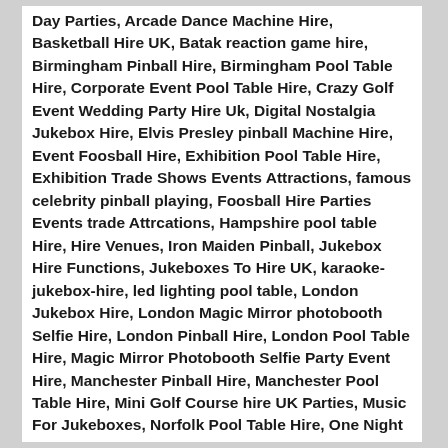Day Parties, Arcade Dance Machine Hire, Basketball Hire UK, Batak reaction game hire, Birmingham Pinball Hire, Birmingham Pool Table Hire, Corporate Event Pool Table Hire, Crazy Golf Event Wedding Party Hire Uk, Digital Nostalgia Jukebox Hire, Elvis Presley pinball Machine Hire, Event Foosball Hire, Exhibition Pool Table Hire, Exhibition Trade Shows Events Attractions, famous celebrity pinball playing, Foosball Hire Parties Events trade Attrcations, Hampshire pool table Hire, Hire Venues, Iron Maiden Pinball, Jukebox Hire Functions, Jukeboxes To Hire UK, karaoke-jukebox-hire, led lighting pool table, London Jukebox Hire, London Magic Mirror photobooth Selfie Hire, London Pinball Hire, London Pool Table Hire, Magic Mirror Photobooth Selfie Party Event Hire, Manchester Pinball Hire, Manchester Pool Table Hire, Mini Golf Course hire UK Parties, Music For Jukeboxes, Norfolk Pool Table Hire, One Night and Day Pinball Machine Hire UK, Pac Man Hire, Party & Wedding Entertainment ideas Extras To Hire, Ping Pong Table Tennis One Day Party Hire, Pool Table Hire For A few Days, Pool Table Hire UK Parties One Night and One Day & Long Term Rentals, Pub Themed Games Hire Equipment, Rocky Pinball Machine Hire, Shuffleboard Hire, Skeeball Party Arcade Hire, Sound Music Built In Pool Table Hire, Sound